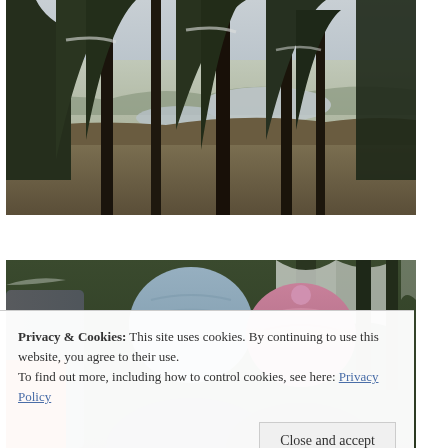[Figure (photo): Winter forest scene viewed from elevated position, showing tall dark conifer trees in foreground with snow-covered valley and frozen lakes visible in background under overcast grey sky]
[Figure (photo): Two hikers wearing winter hats (light blue and pink/purple) among snow-covered evergreen trees; dark jacket visible on left edge]
Privacy & Cookies: This site uses cookies. By continuing to use this website, you agree to their use.
To find out more, including how to control cookies, see here: Privacy Policy
Close and accept